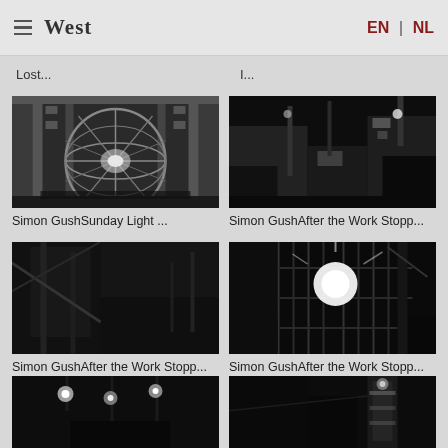West | EN | NL
Lost...
I...
[Figure (photo): Black and white photo of a large architectural interior with a spherical geodesic dome structure in a atrium-like building]
Simon GushSunday Light ...
[Figure (photo): Black and white night photo of an industrial facility with lit structures and buildings]
Simon GushAfter the Work Stopp...
[Figure (photo): Black and white night photo of an industrial crane or bridge structure in darkness]
Simon GushAfter the Work Stopp...
[Figure (photo): Black and white night photo of industrial scaffolding or construction site with bright lights]
Simon GushAfter the Work Stopp...
[Figure (photo): Black and white night photo of industrial lights and structures]
[Figure (photo): Black and white night photo of a lit industrial tower or facility]